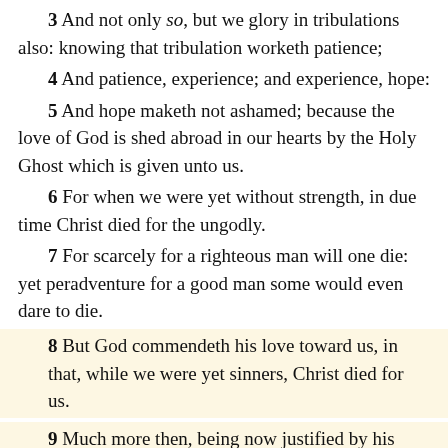3 And not only so, but we glory in tribulations also: knowing that tribulation worketh patience;
4 And patience, experience; and experience, hope:
5 And hope maketh not ashamed; because the love of God is shed abroad in our hearts by the Holy Ghost which is given unto us.
6 For when we were yet without strength, in due time Christ died for the ungodly.
7 For scarcely for a righteous man will one die: yet peradventure for a good man some would even dare to die.
8 But God commendeth his love toward us, in that, while we were yet sinners, Christ died for us.
9 Much more then, being now justified by his blood, we shall be saved from wrath through him.
10 For if, when we were enemies, we were reconciled to God by the death of his Son, much more, being reconciled, we